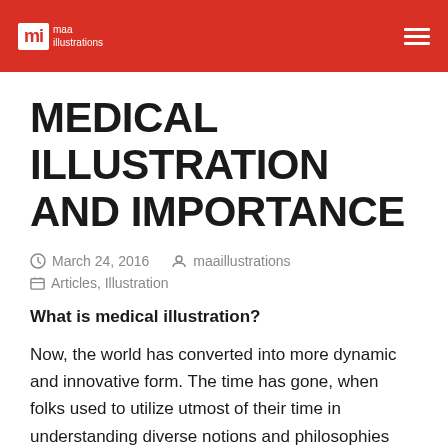mi maa illustrations
MEDICAL ILLUSTRATION AND IMPORTANCE
March 24, 2016   maaillustrations
Articles, Illustration
What is medical illustration?
Now, the world has converted into more dynamic and innovative form. The time has gone, when folks used to utilize utmost of their time in understanding diverse notions and philosophies about earth and human anatomy. Now, most of people linger diligent all the day. That is why, they can't give suitable time to learning. The time has passed, when publics used to read only written